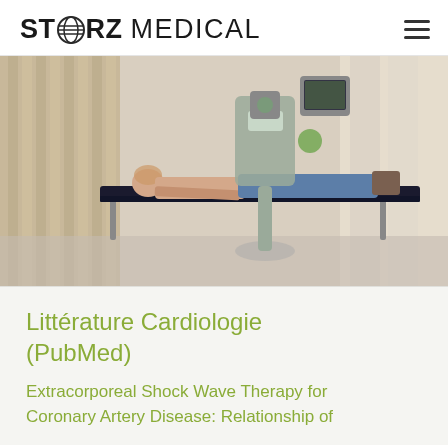STORZ MEDICAL
[Figure (photo): Patient lying on a medical treatment table in a clinical room, with a medical device (shockwave therapy machine) positioned nearby. Bright, modern clinical setting with curtains and wooden wall panels.]
Littérature Cardiologie (PubMed)
Extracorporeal Shock Wave Therapy for Coronary Artery Disease: Relationship of